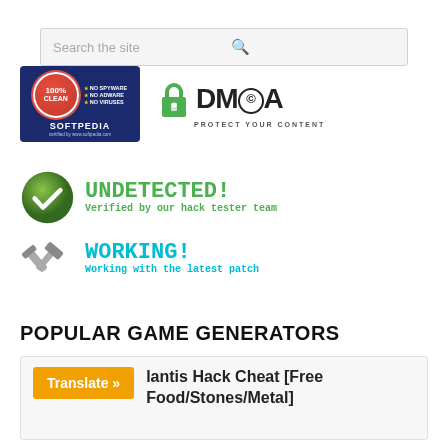[Figure (other): Search bar with magnifier icon at top of page]
[Figure (logo): Softpedia 100% Clean badge and DMCA Protect Your Content badge side by side]
[Figure (infographic): UNDETECTED! verified by our hack tester team badge with green checkmark, and WORKING! Working with the latest patch badge with tools icon]
POPULAR GAME GENERATORS
[Figure (other): Card with orange Translate button and title: ...lantis Hack Cheat [Free Food/Stones/Metal]]